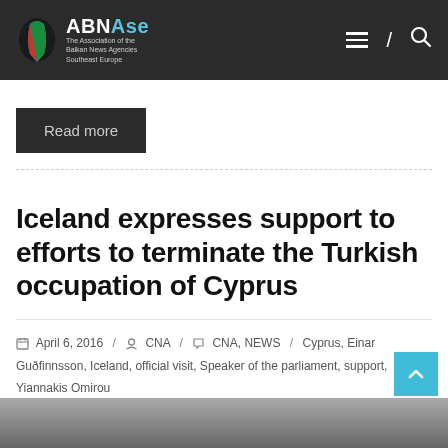ABNAse – The Association of the Balkan News Agencies Southeast Europe
Read more
Iceland expresses support to efforts to terminate the Turkish occupation of Cyprus
April 6, 2016 / CNA / CNA, NEWS / Cyprus, Einar Guðfinnsson, Iceland, official visit, Speaker of the parliament, support, Yiannakis Omirou
[Figure (photo): Partial image at the bottom of the page, appears to be a news-related photograph]